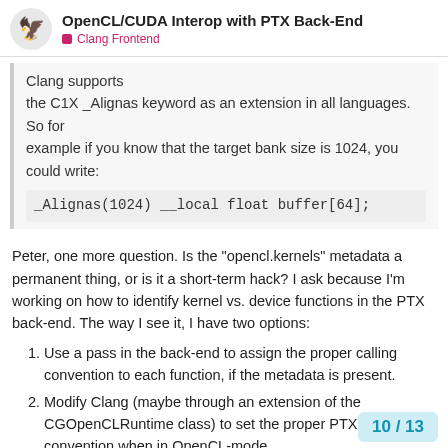OpenCL/CUDA Interop with PTX Back-End — Clang Frontend
Clang supports the C1X _Alignas keyword as an extension in all languages. So for example if you know that the target bank size is 1024, you could write:
_Alignas(1024) __local float buffer[64];
Peter, one more question. Is the "opencl.kernels" metadata a permanent thing, or is it a short-term hack? I ask because I'm working on how to identify kernel vs. device functions in the PTX back-end. The way I see it, I have two options:
Use a pass in the back-end to assign the proper calling convention to each function, if the metadata is present.
Modify Clang (maybe through an extension of the CGOpenCLRuntime class) to set the proper PTX calling convention when in OpenCL-mode.
10 / 13